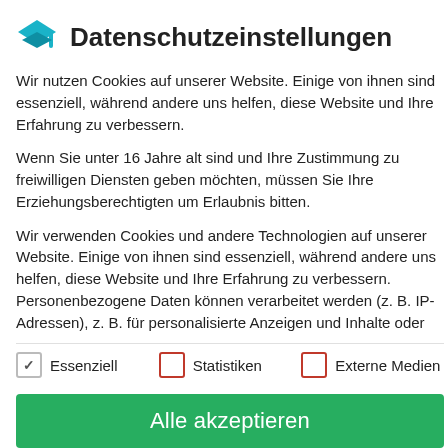Datenschutzeinstellungen
Wir nutzen Cookies auf unserer Website. Einige von ihnen sind essenziell, während andere uns helfen, diese Website und Ihre Erfahrung zu verbessern.
Wenn Sie unter 16 Jahre alt sind und Ihre Zustimmung zu freiwilligen Diensten geben möchten, müssen Sie Ihre Erziehungsberechtigten um Erlaubnis bitten.
Wir verwenden Cookies und andere Technologien auf unserer Website. Einige von ihnen sind essenziell, während andere uns helfen, diese Website und Ihre Erfahrung zu verbessern. Personenbezogene Daten können verarbeitet werden (z. B. IP-Adressen), z. B. für personalisierte Anzeigen und Inhalte oder
✓ Essenziell
Statistiken
Externe Medien
Alle akzeptieren
Ich habe ein Unterrichtszimmer in meinem Haus in Vogelsang, nur 5 Minuten von dem Bahnhof entfernt.